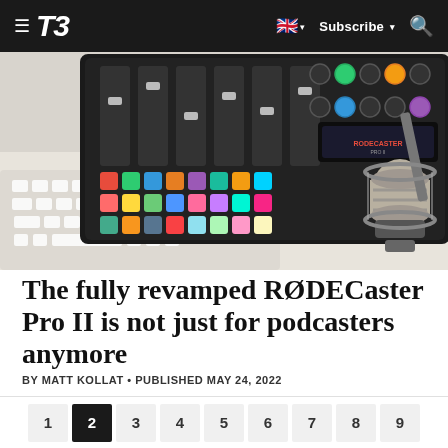T3 — Subscribe
[Figure (photo): A RØDECaster Pro II podcast mixer with colorful backlit pads and sliders, alongside a white keyboard and a large dynamic microphone on a stand, on a white desk surface.]
The fully revamped RØDECaster Pro II is not just for podcasters anymore
BY MATT KOLLAT • PUBLISHED MAY 24, 2022
1  2  3  4  5  6  7  8  9